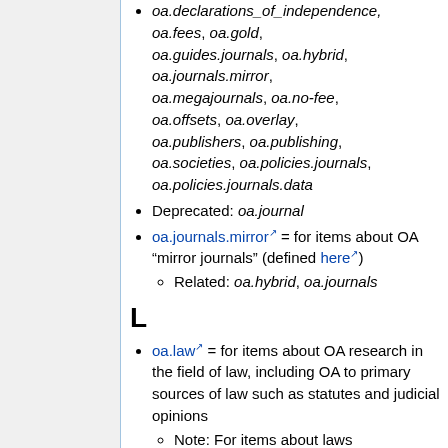oa.declarations_of_independence, oa.fees, oa.gold, oa.guides.journals, oa.hybrid, oa.journals.mirror, oa.megajournals, oa.no-fee, oa.offsets, oa.overlay, oa.publishers, oa.publishing, oa.societies, oa.policies.journals, oa.policies.journals.data
Deprecated: oa.journal
oa.journals.mirror = for items about OA "mirror journals" (defined here)
Related: oa.hybrid, oa.journals
L
oa.law = for items about OA research in the field of law, including OA to primary sources of law such as statutes and judicial opinions
Note: For items about laws